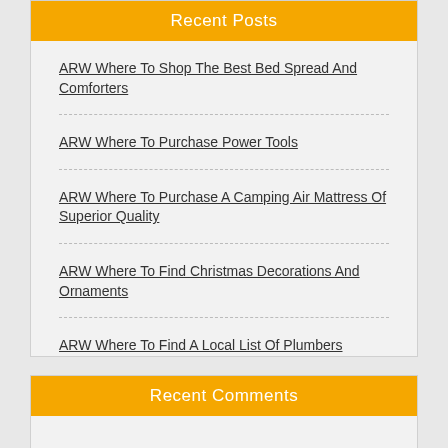Recent Posts
ARW Where To Shop The Best Bed Spread And Comforters
ARW Where To Purchase Power Tools
ARW Where To Purchase A Camping Air Mattress Of Superior Quality
ARW Where To Find Christmas Decorations And Ornaments
ARW Where To Find A Local List Of Plumbers
Recent Comments